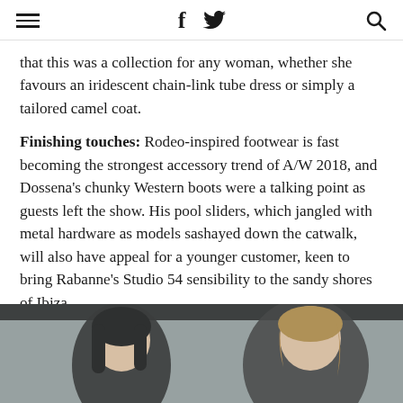☰  f  🐦  🔍
that this was a collection for any woman, whether she favours an iridescent chain-link tube dress or simply a tailored camel coat.
Finishing touches: Rodeo-inspired footwear is fast becoming the strongest accessory trend of A/W 2018, and Dossena's chunky Western boots were a talking point as guests left the show. His pool sliders, which jangled with metal hardware as models sashayed down the catwalk, will also have appeal for a younger customer, keen to bring Rabanne's Studio 54 sensibility to the sandy shores of Ibiza.
[Figure (photo): Two women photographed from the shoulders up, one with dark straight hair on the left, one with light wavy hair on the right, against a grey background.]